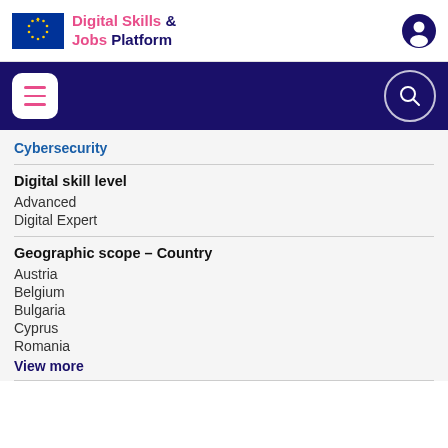Digital Skills & Jobs Platform
Cybersecurity
Digital skill level
Advanced
Digital Expert
Geographic scope – Country
Austria
Belgium
Bulgaria
Cyprus
Romania
View more